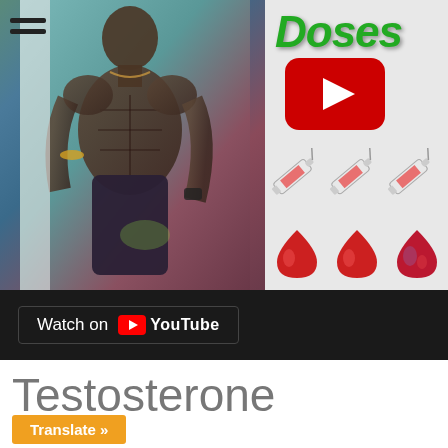[Figure (screenshot): YouTube video thumbnail showing a muscular shirtless man on the left, and on the right the word 'Doses' in green italic text, a YouTube play button, syringe emojis, and blood drop emojis]
Watch on YouTube
Testosterone
Translate »